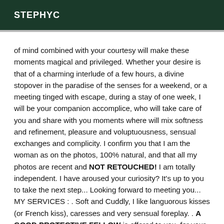STEPHYC
of mind combined with your courtesy will make these moments magical and privileged. Whether your desire is that of a charming interlude of a few hours, a divine stopover in the paradise of the senses for a weekend, or a meeting tinged with escape, during a stay of one week, I will be your companion accomplice, who will take care of you and share with you moments where will mix softness and refinement, pleasure and voluptuousness, sensual exchanges and complicity. I confirm you that I am the woman as on the photos, 100% natural, and that all my photos are recent and NOT RETOUCHED! I am totally independent. I have aroused your curiosity? It's up to you to take the next step... Looking forward to meeting you... MY SERVICES : . Soft and Cuddly, I like languorous kisses (or French kiss), caresses and very sensual foreplay. . A GOOD PROTECTIVE FELLOW is offered to you, for your greatest pleasure. However